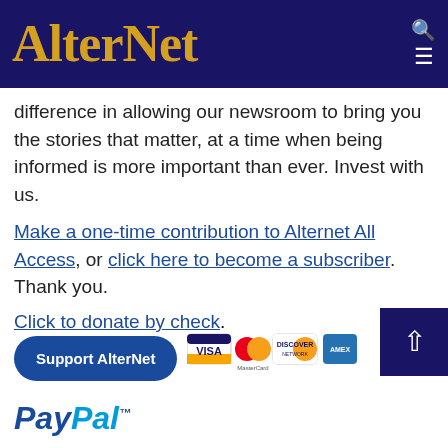AlterNet
difference in allowing our newsroom to bring you the stories that matter, at a time when being informed is more important than ever. Invest with us.
Make a one-time contribution to Alternet All Access, or click here to become a subscriber. Thank you.
Click to donate by check.
[Figure (logo): Support AlterNet button and payment card logos (VISA, MasterCard, Discover, American Express)]
[Figure (logo): PayPal logo]